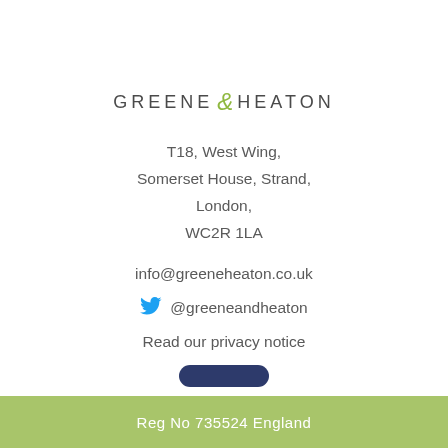[Figure (logo): Greene & Heaton logo — 'GREENE' and 'HEATON' in spaced dark grey uppercase letters with a green italic ampersand between them]
T18, West Wing,
Somerset House, Strand,
London,
WC2R 1LA
info@greeneheaton.co.uk
@greeneandheaton
Read our privacy notice
Reg No 735524 England